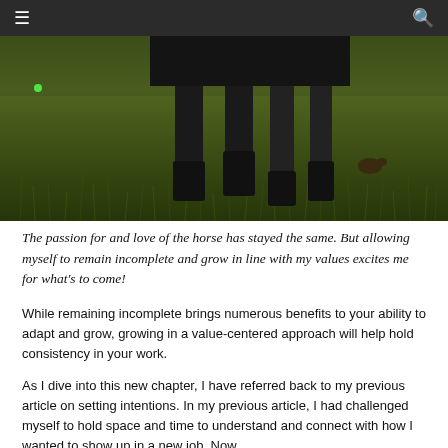≡  🔍
[Figure (photo): Outdoor photo showing the lower legs and hooves of a dark horse standing on green grass in dim/natural lighting. A small green dot is visible in the upper left area of the image.]
The passion for and love of the horse has stayed the same. But allowing myself to remain incomplete and grow in line with my values excites me for what's to come!
While remaining incomplete brings numerous benefits to your ability to adapt and grow, growing in a value-centered approach will help hold consistency in your work.
As I dive into this new chapter, I have referred back to my previous article on setting intentions. In my previous article, I had challenged myself to hold space and time to understand and connect with how I wanted to show up in a new job. Now, starting We...